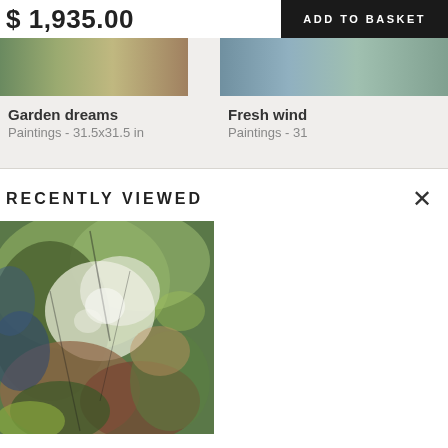$ 1,935.00
ADD TO BASKET
[Figure (photo): Thumbnail of painting - Garden dreams]
Garden dreams
Paintings - 31.5x31.5 in
[Figure (photo): Thumbnail of painting - Fresh wind (partially visible)]
Fresh wind
Paintings - 31
RECENTLY VIEWED
[Figure (photo): Abstract impressionist painting with greens, whites, blues, and earth tones - recently viewed artwork]